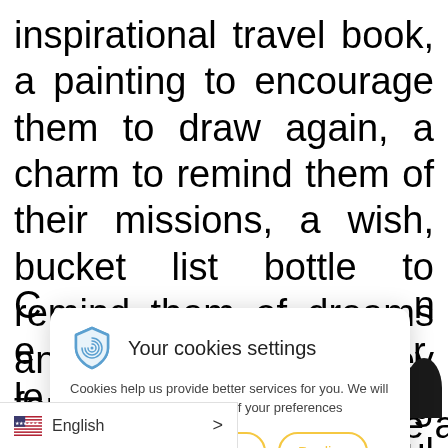inspirational travel book, a painting to encourage them to draw again, a charm to remind them of their missions, a wish, bucket list bottle to remind them of dreams and ambitions they forget. There is nothing more creatively powerful than getting inspiration for life, so take this chance to encourage your lo[ved ones to live their life]
[Figure (screenshot): Cookie consent dialog overlay with shield/fingerprint icon, title 'Your cookies settings', body text about cookies, and three buttons: Accept (yellow filled), Settings (yellow outline), Decline (yellow outline)]
d in art, we also prepare a